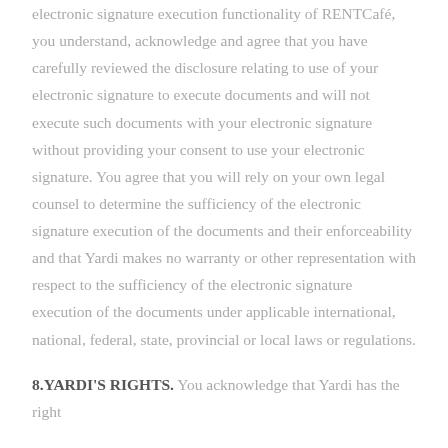electronic signature execution functionality of RENTCafé, you understand, acknowledge and agree that you have carefully reviewed the disclosure relating to use of your electronic signature to execute documents and will not execute such documents with your electronic signature without providing your consent to use your electronic signature. You agree that you will rely on your own legal counsel to determine the sufficiency of the electronic signature execution of the documents and their enforceability and that Yardi makes no warranty or other representation with respect to the sufficiency of the electronic signature execution of the documents under applicable international, national, federal, state, provincial or local laws or regulations.
8.YARDI'S RIGHTS. You acknowledge that Yardi has the right